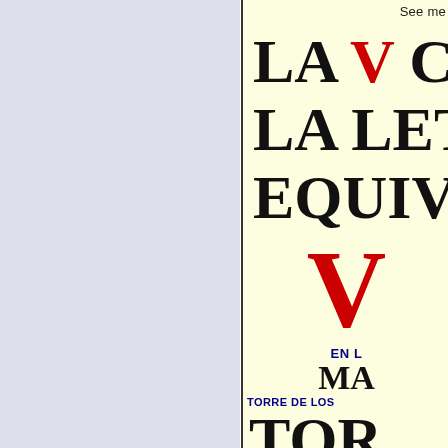See me
LA V CO LA LET EQUIVA V EN L MA TORRE DE LOS TOR CEN
TORRE DE LOS
TOR
CEN